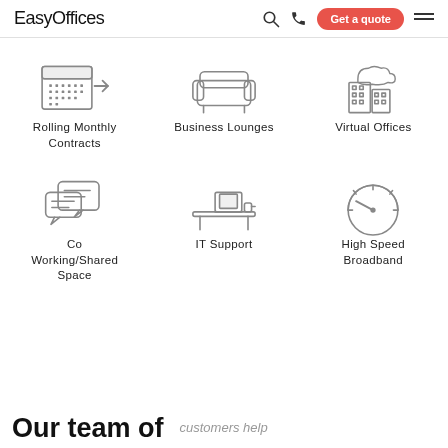EasyOffices | Get a quote
[Figure (illustration): Icon of a calendar with an arrow, representing Rolling Monthly Contracts]
Rolling Monthly Contracts
[Figure (illustration): Icon of a sofa/armchair, representing Business Lounges]
Business Lounges
[Figure (illustration): Icon of a building with a cloud, representing Virtual Offices]
Virtual Offices
[Figure (illustration): Icon of two speech bubbles, representing Co Working/Shared Space]
Co Working/Shared Space
[Figure (illustration): Icon of a desk with laptop, representing IT Support]
IT Support
[Figure (illustration): Icon of a speedometer, representing High Speed Broadband]
High Speed Broadband
Our team of
customers help